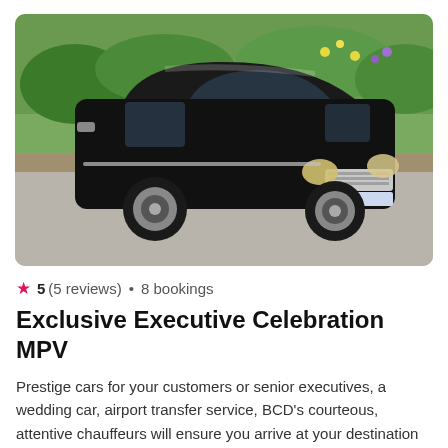[Figure (photo): Black luxury MPV / minivan (Chrysler Town & Country style) parked on a gravel driveway with green garden bushes and flowers in the background]
★ 5 (5 reviews) • 8 bookings
Exclusive Executive Celebration MPV
Prestige cars for your customers or senior executives, a wedding car, airport transfer service, BCD's courteous, attentive chauffeurs will ensure you arrive at your destination in good time.
from £130 / per event